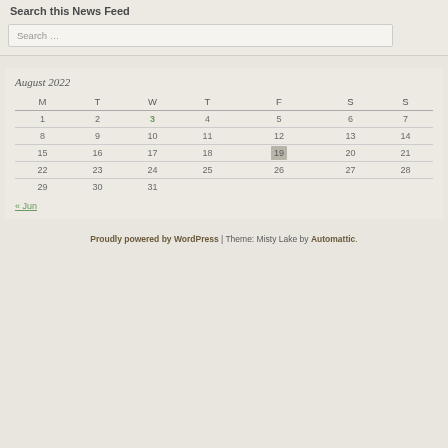Search this News Feed
Search ...
| M | T | W | T | F | S | S |
| --- | --- | --- | --- | --- | --- | --- |
| 1 | 2 | 3 | 4 | 5 | 6 | 7 |
| 8 | 9 | 10 | 11 | 12 | 13 | 14 |
| 15 | 16 | 17 | 18 | 19 | 20 | 21 |
| 22 | 23 | 24 | 25 | 26 | 27 | 28 |
| 29 | 30 | 31 |  |  |  |  |
« Jun
Proudly powered by WordPress | Theme: Misty Lake by Automattic.